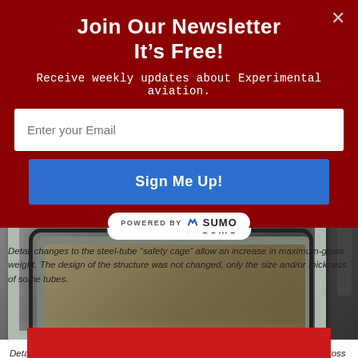Join Our Newsletter
It's Free!
Receive weekly updates about Experimental aviation.
[Figure (screenshot): Email input field with placeholder text 'Enter your Email' on white background inside red modal]
[Figure (screenshot): Blue 'Sign Me Up!' button inside red newsletter modal]
[Figure (photo): Close-up photo of steel-tube safety cage structure on an experimental aircraft, showing canopy frame with rubber seals. A 'POWERED BY SUMO' badge is visible overlaid on the image.]
Detail changes to the steel-tube “safety cage” allow an increase in maximum-gross weight. The design of the structure was not changed, only the size and/or thickness of some tubes.
[Figure (photo): Red surface visible at the bottom of the page, partial view of another photograph.]